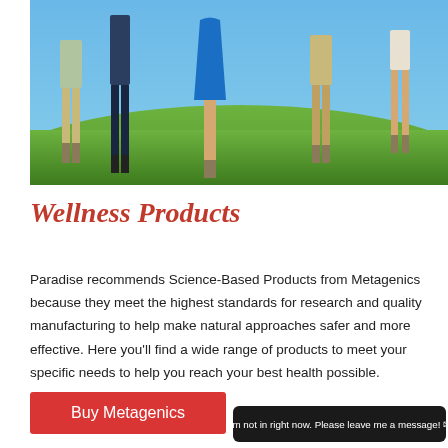[Figure (photo): Group of people holding hands standing in a grassy field under a blue sky, cropped to show only their lower bodies from waist down]
Wellness Products
Paradise recommends Science-Based Products from Metagenics because they meet the highest standards for research and quality manufacturing to help make natural approaches safer and more effective. Here you'll find a wide range of products to meet your specific needs to help you reach your best health possible.
Buy Metagenics
I'm not in right now. Please leave me a message!